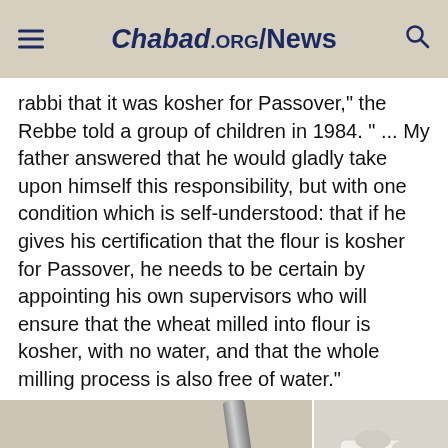Chabad.ORG/News
rabbi that it was kosher for Passover," the Rebbe told a group of children in 1984. " ... My father answered that he would gladly take upon himself this responsibility, but with one condition which is self-understood: that if he gives his certification that the flour is kosher for Passover, he needs to be certain by appointing his own supervisors who will ensure that the wheat milled into flour is kosher, with no water, and that the whole milling process is also free of water."
[Figure (photo): Two men wearing black hats and coats, likely rabbis, standing near milling equipment. On the right side, large white flour sacks are stacked.]